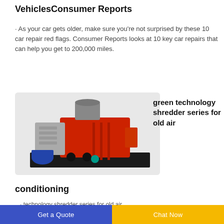VehiclesConsumer Reports
· As your car gets older, make sure you're not surprised by these 10 car repair red flags. Consumer Reports looks at 10 key car repairs that can help you get to 200,000 miles.
[Figure (photo): Industrial shredder machine — large red metal housing with orange and grey components on a black frame platform, heavy-duty industrial equipment]
green technology shredder series for old air
conditioning
...technology shredder series for old air...
Get a Quote   Chat Now